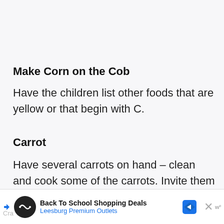Make Corn on the Cob
Have the children list other foods that are yellow or that begin with C.
Carrot
Have several carrots on hand – clean and cook some of the carrots. Invite them to taste raw and cooked carrots, and ask how they are alike and different. Take a survey – graph the results.
[Figure (other): Advertisement banner for Back To School Shopping Deals at Leesburg Premium Outlets]